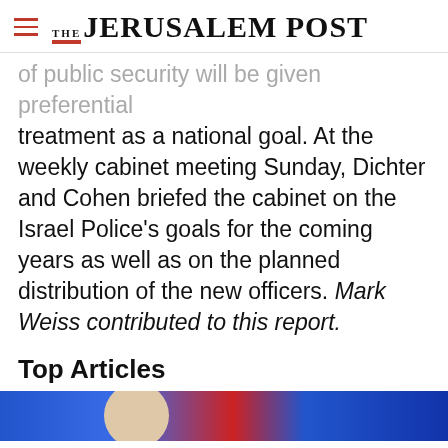THE JERUSALEM POST
of public security will be given preferential treatment as a national goal. At the weekly cabinet meeting Sunday, Dichter and Cohen briefed the cabinet on the Israel Police's goals for the coming years as well as on the planned distribution of the new officers. Mark Weiss contributed to this report.
Top Articles
[Figure (photo): Top articles banner image with blue and red background, partial face visible]
Advertisement
[Figure (infographic): Magen David Adom advertisement banner: red background with Star of David logo, Hebrew text, and gray button reading 'Help us save lives in Israel']